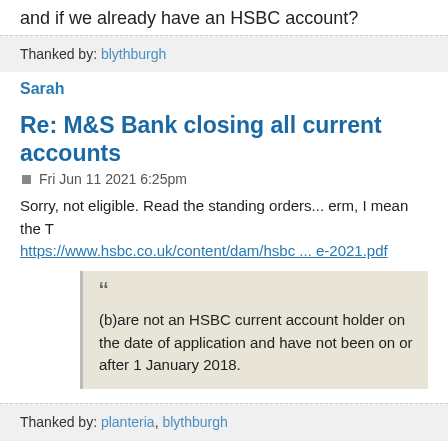and if we already have an HSBC account?
Thanked by: blythburgh
Sarah
Re: M&S Bank closing all current accounts
Fri Jun 11 2021 6:25pm
Sorry, not eligible. Read the standing orders... erm, I mean the T https://www.hsbc.co.uk/content/dam/hsbc ... e-2021.pdf
(b)are not an HSBC current account holder on the date of application and have not been on or after 1 January 2018.
Thanked by: planteria, blythburgh
planteria